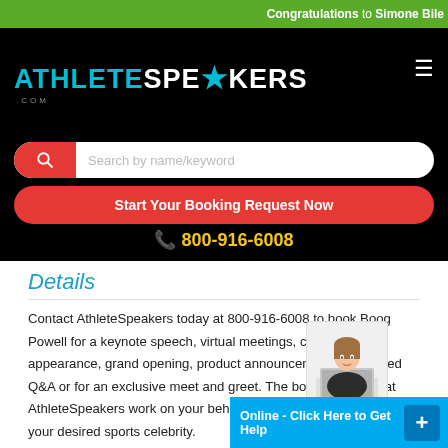Congratulations to Simone Bile
[Figure (logo): AthleteSpeakers.com logo in cyan and white on black background]
Search by name/keyword
Start Your Booking Request Now
800-916-6008
Details
Contact AthleteSpeakers today at 800-916-6008 to book Boog Powell for a keynote speech, virtual meetings, corporate appearance, grand opening, product announcement, moderated Q&A or for an exclusive meet and greet. The booking agents at AthleteSpeakers work on your behalf to get you the best price for your desired sports celebrity.
[Figure (photo): Customer service representative chat avatar - woman with laptop]
Online - Click Here to Get Help